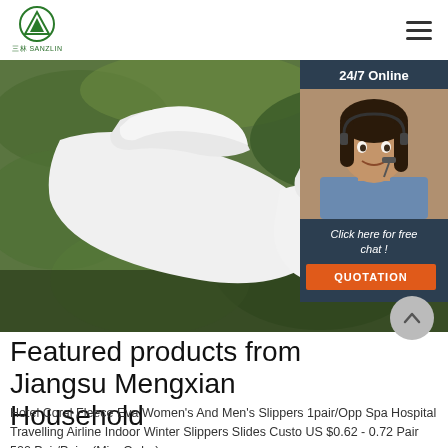[Figure (logo): Green triangle/mountain logo with Chinese text 三林 SANZLIN below]
[Figure (photo): Close-up photo of white hotel slippers on green foliage background]
[Figure (photo): 24/7 Online chat panel with female customer service representative wearing headset, dark background, 'Click here for free chat!' text and orange QUOTATION button]
Featured products from Jiangsu Mengxian Household
Hotel Coral Fleece Eva Women's And Men's Slippers 1pair/Opp Spa Hospital Travelling Airline Indoor Winter Slippers Slides Custo US $0.62 - 0.72 Pair 500 Pair/Pairs (Min. Order)